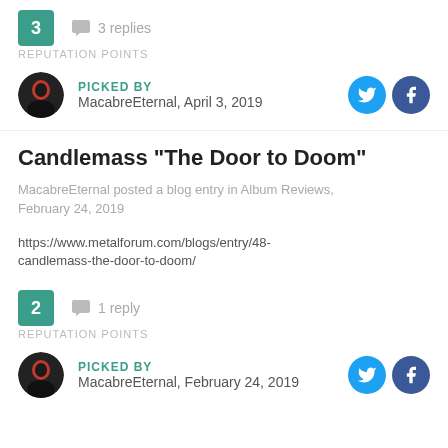3 REPUTATION POINTS
3 replies
PICKED BY MacabreEternal, April 3, 2019
Candlemass "The Door to Doom"
MacabreEternal posted a blog entry in Album Reviews, February 24, 2019
https://www.metalforum.com/blogs/entry/48-candlemass-the-door-to-doom/
2 REPUTATION POINTS
1 reply
PICKED BY MacabreEternal, February 24, 2019